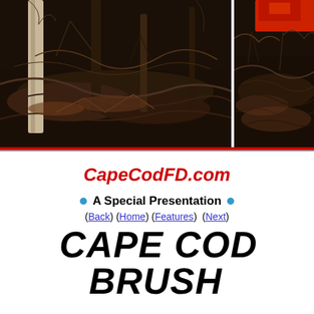[Figure (photo): Two side-by-side fire/brush photographs showing scorched forest floor with charred roots, dark soil, and bare burnt trees. Left image is wider, right image is narrower with some red color visible at top right.]
CapeCodFD.com
A Special Presentation
(Back) (Home) (Features) (Next)
CAPE COD BRUSH